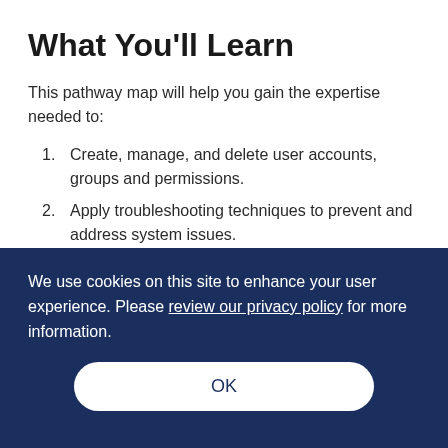What You'll Learn
This pathway map will help you gain the expertise needed to:
Create, manage, and delete user accounts, groups and permissions.
Apply troubleshooting techniques to prevent and address system issues.
We use cookies on this site to enhance your user experience. Please review our privacy policy for more information.
OK